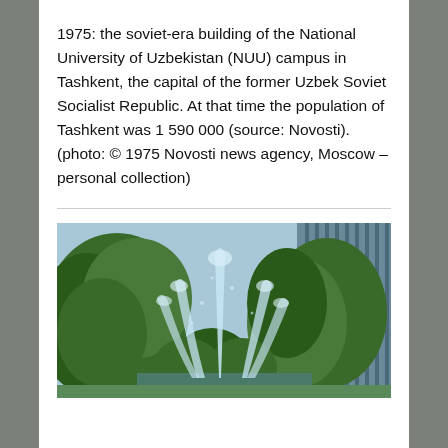1975: the soviet-era building of the National University of Uzbekistan (NUU) campus in Tashkent, the capital of the former Uzbek Soviet Socialist Republic. At that time the population of Tashkent was 1 590 000 (source: Novosti). (photo: © 1975 Novosti news agency, Moscow – personal collection)
[Figure (photo): A 1975 photograph showing a fountain with water jets spraying upward, surrounded by lush green trees/bushes, with what appears to be a building with vertical columns/fins visible in the background on the right side. The scene is outdoors on the NUU campus in Tashkent.]